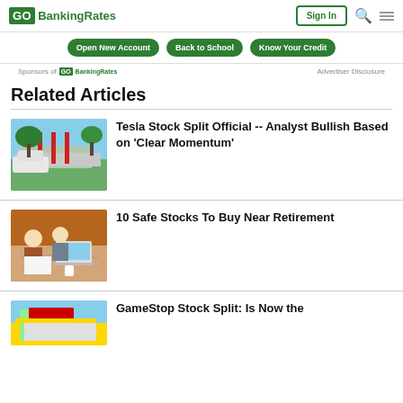GoBankingRates
Open New Account
Back to School
Know Your Credit
Sponsors of GoBankingRates   Advertiser Disclosure
Related Articles
[Figure (photo): Tesla supercharger station with white car in a parking lot]
Tesla Stock Split Official -- Analyst Bullish Based on 'Clear Momentum'
[Figure (photo): Elderly couple looking at documents with laptop on a table]
10 Safe Stocks To Buy Near Retirement
[Figure (photo): GameStop store exterior, partial view]
GameStop Stock Split: Is Now the